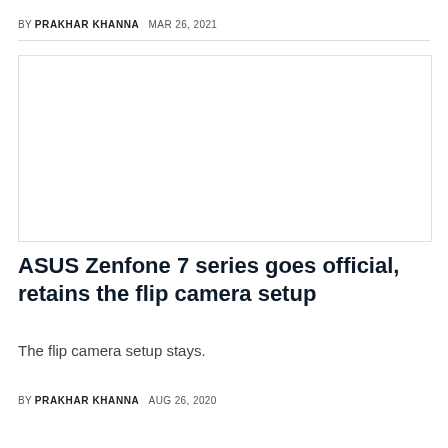BY PRAKHAR KHANNA   MAR 26, 2021
[Figure (photo): White/blank image placeholder for an article]
ASUS Zenfone 7 series goes official, retains the flip camera setup
The flip camera setup stays.
BY PRAKHAR KHANNA   AUG 26, 2020